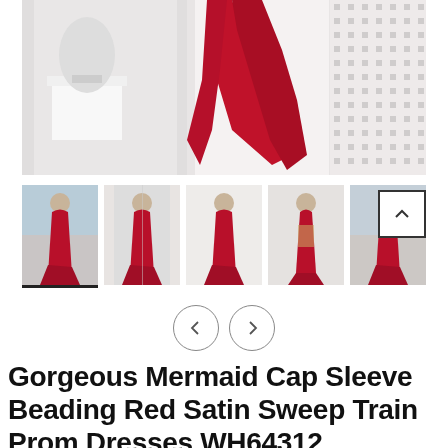[Figure (photo): Main product photo showing a red mermaid gown sweeping on a white tiled bathroom floor with architectural white doors in background]
[Figure (photo): Thumbnail gallery row: 5 thumbnails of a model wearing a red mermaid prom dress from various angles. First thumbnail is selected (underlined). A scroll-up arrow button appears at right.]
[Figure (other): Navigation previous (<) and next (>) circle buttons for the thumbnail carousel]
Gorgeous Mermaid Cap Sleeve Beading Red Satin Sweep Train Prom Dresses WH64312